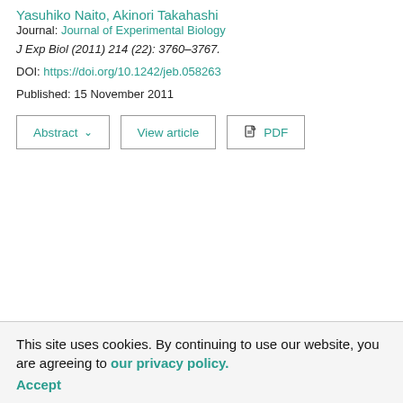Yasuhiko Naito, Akinori Takahashi
Journal: Journal of Experimental Biology
J Exp Biol (2011) 214 (22): 3760–3767.
DOI: https://doi.org/10.1242/jeb.058263
Published: 15 November 2011
Abstract ∨   View article   PDF
This site uses cookies. By continuing to use our website, you are agreeing to our privacy policy. Accept